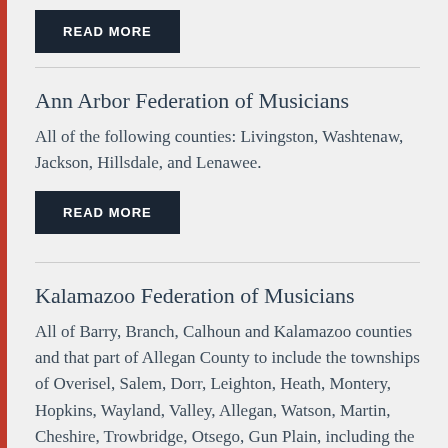[Figure (other): READ MORE button (dark navy background, white text)]
Ann Arbor Federation of Musicians
All of the following counties: Livingston, Washtenaw, Jackson, Hillsdale, and Lenawee.
[Figure (other): READ MORE button (dark navy background, white text)]
Kalamazoo Federation of Musicians
All of Barry, Branch, Calhoun and Kalamazoo counties and that part of Allegan County to include the townships of Overisel, Salem, Dorr, Leighton, Heath, Montery, Hopkins, Wayland, Valley, Allegan, Watson, Martin, Cheshire, Trowbridge, Otsego, Gun Plain, including the